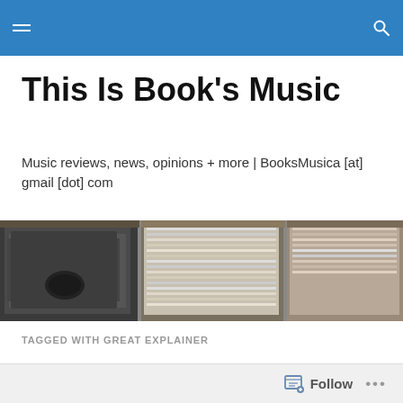This Is Book's Music — site header bar with menu and search icons
This Is Book's Music
Music reviews, news, opinions + more | BooksMusica [at] gmail [dot] com
[Figure (photo): Photo of vinyl records stored upright in cardboard box dividers, viewed from above at slight angle]
TAGGED WITH GREAT EXPLAINER
SOME STUFFS: Teen Agers to open 2014 with a U.S. tour
Follow ...